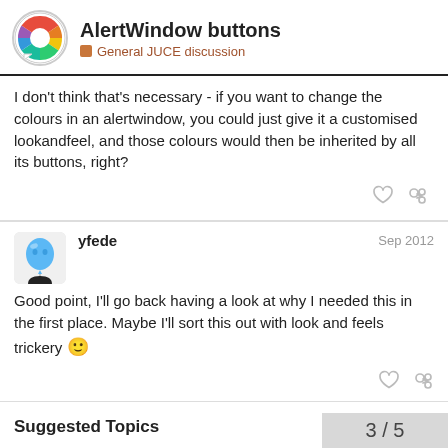AlertWindow buttons — General JUCE discussion
I don't think that's necessary - if you want to change the colours in an alertwindow, you could just give it a customised lookandfeel, and those colours would then be inherited by all its buttons, right?
yfede Sep 2012
Good point, I'll go back having a look at why I needed this in the first place. Maybe I'll sort this out with look and feels trickery 🙂
3 / 5
Suggested Topics